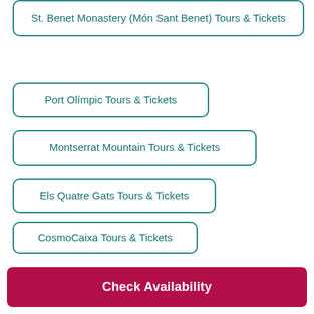St. Benet Monastery (Món Sant Benet) Tours & Tickets
Port Olímpic Tours & Tickets
Montserrat Mountain Tours & Tickets
Els Quatre Gats Tours & Tickets
CosmoCaixa Tours & Tickets
França Railway Station (Estació de França) Tours & Tickets
Barcelona City History Museum (MUHBA) Tours
Check Availability